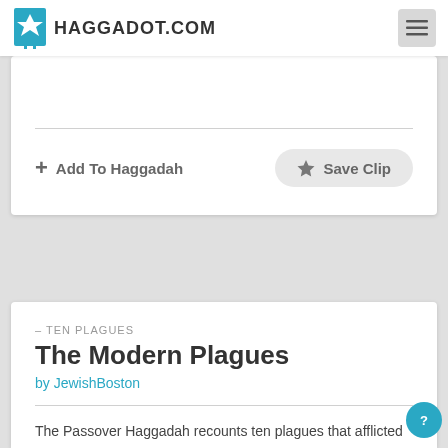HAGGADOT.COM
Add To Haggadah
Save Clip
– TEN PLAGUES
The Modern Plagues
by JewishBoston
The Passover Haggadah recounts ten plagues that afflicted Egyptian society. In our tradition, Passover is the season in which we imagine our own lives within the story and the story within our lives. Accordingly, we turn